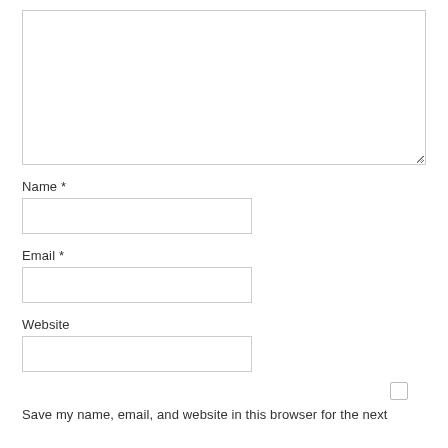[Figure (other): Large empty textarea input box for comment/message entry]
Name *
[Figure (other): Single-line text input field for Name]
Email *
[Figure (other): Single-line text input field for Email]
Website
[Figure (other): Single-line text input field for Website]
[Figure (other): Checkbox (unchecked)]
Save my name, email, and website in this browser for the next